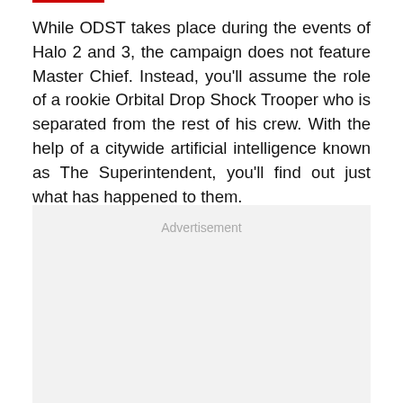While ODST takes place during the events of Halo 2 and 3, the campaign does not feature Master Chief. Instead, you'll assume the role of a rookie Orbital Drop Shock Trooper who is separated from the rest of his crew. With the help of a citywide artificial intelligence known as The Superintendent, you'll find out just what has happened to them.
[Figure (other): Advertisement placeholder box with light gray background and 'Advertisement' label text in gray.]